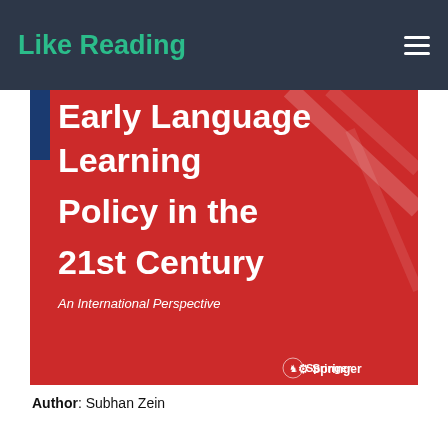Like Reading
[Figure (photo): Book cover of 'Early Language Learning Policy in the 21st Century: An International Perspective' by Subhan Zein, published by Springer. Red cover with white large bold title text and diagonal line decorations, blue left accent, Springer logo at bottom right.]
Author: Subhan Zein